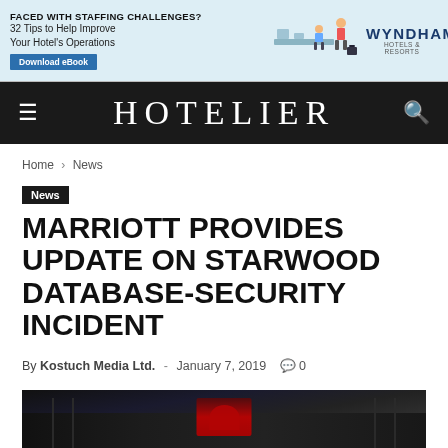[Figure (infographic): Wyndham Hotels & Resorts advertisement banner: 'FACED WITH STAFFING CHALLENGES? 32 Tips to Help Improve Your Hotel's Operations' with a Download eBook button, illustration of hotel staff, and Wyndham Hotels & Resorts logo]
HOTELIER
Home › News
News
MARRIOTT PROVIDES UPDATE ON STARWOOD DATABASE-SECURITY INCIDENT
By Kostuch Media Ltd. - January 7, 2019 💬 0
[Figure (photo): Dark photo showing what appears to be a Marriott hotel sign or building exterior, partially visible at the bottom of the page]